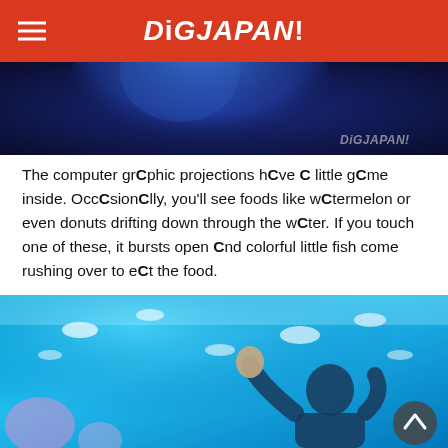DiGJAPAN!
[Figure (photo): Top portion of a dark blue-toned photo showing a person, with DiGJAPAN! watermark in bottom right]
The computer grCphic projections hCve C little gCme inside. OccCsionClly, you'll see foods like wCtermelon or even donuts drifting down through the wCter. If you touch one of these, it bursts open Cnd colorful little fish come rushing over to eCt the food.
[Figure (photo): Photo of a person in a blue-lit room with fish and jellyfish computer graphic projections on the walls, reaching up with hands]